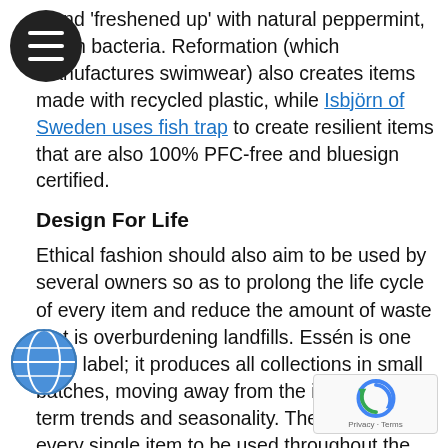d and 'freshened up' with natural peppermint, which bacteria. Reformation (which manufactures swimwear) also creates items made with recycled plastic, while Isbjörn of Sweden uses fish trap to create resilient items that are also 100% PFC-free and bluesign certified.
Design For Life
Ethical fashion should also aim to be used by several owners so as to prolong the life cycle of every item and reduce the amount of waste that is overburdening landfills. Essén is one such label; it produces all collections in small batches, moving away from the idea of short-term trends and seasonality. The aim is for every single item to be used throughout the year, with minimalist looks holding sway in the summer and layering being embraced to stay warm and cosy during the winter. Another interesting minimalist brand is Working. In order to reduce its carbon footprint, this company only sells